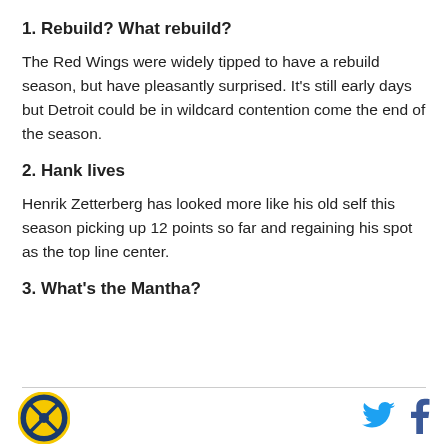1. Rebuild? What rebuild?
The Red Wings were widely tipped to have a rebuild season, but have pleasantly surprised. It's still early days but Detroit could be in wildcard contention come the end of the season.
2. Hank lives
Henrik Zetterberg has looked more like his old self this season picking up 12 points so far and regaining his spot as the top line center.
3. What's the Mantha?
[Figure (logo): Sports website logo — circular badge with crossed hockey sticks, gold and blue colors]
[Figure (logo): Twitter bird icon in blue]
[Figure (logo): Facebook f icon in dark blue]